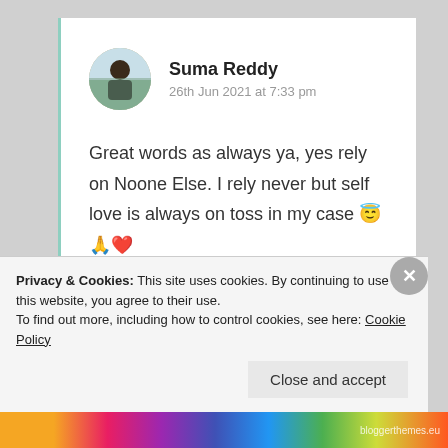Suma Reddy
26th Jun 2021 at 7:33 pm
Great words as always ya, yes rely on Noone Else. I rely never but self love is always on toss in my case 😇🙏❤️
★ Liked by 2 people
Log in to Reply
Privacy & Cookies: This site uses cookies. By continuing to use this website, you agree to their use.
To find out more, including how to control cookies, see here: Cookie Policy
Close and accept